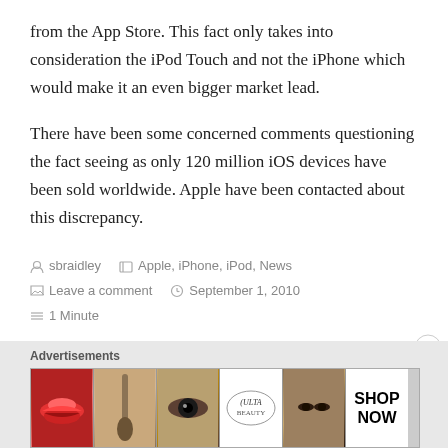from the App Store. This fact only takes into consideration the iPod Touch and not the iPhone which would make it an even bigger market lead.
There have been some concerned comments questioning the fact seeing as only 120 million iOS devices have been sold worldwide. Apple have been contacted about this discrepancy.
sbraidley   Apple, iPhone, iPod, News   Leave a comment   September 1, 2010   1 Minute
[Figure (other): Advertisements banner showing beauty/makeup ad with lips, brush, eye, ULTA logo, face, and SHOP NOW sections]